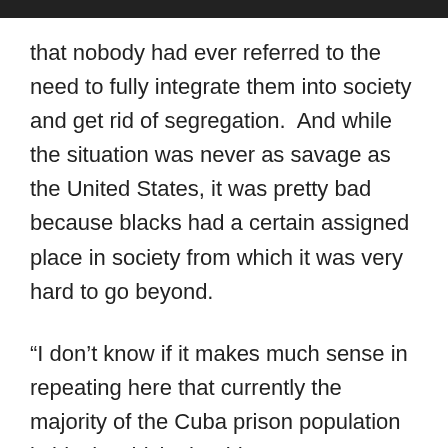that nobody had ever referred to the need to fully integrate them into society and get rid of segregation.  And while the situation was never as savage as the United States, it was pretty bad because blacks had a certain assigned place in society from which it was very hard to go beyond.
“I don’t know if it makes much sense in repeating here that currently the majority of the Cuba prison population is black, which should come as no surprise since the same patterns of poverty and